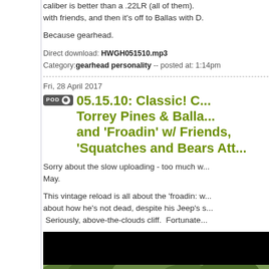caliber is better than a .22LR (all of them). with friends, and then it's off to Ballas with D.
Because gearhead.
Direct download: HWGH051510.mp3
Category: gearhead personality -- posted at: 1:14pm
Fri, 28 April 2017
05.15.10: Classic! C... Torrey Pines & Balla... and 'Froadin' w/ Friends, 'Squatches and Bears Att...
Sorry about the slow uploading - too much w... May.
This vintage reload is all about the 'froadin: w... about how he's not dead, despite his Jeep's s... Seriously, above-the-clouds cliff. Fortunate...
[Figure (photo): A Jeep vehicle on a rocky off-road hillside with yellow straps visible, surrounded by brush and vegetation. Black bar at top of image.]